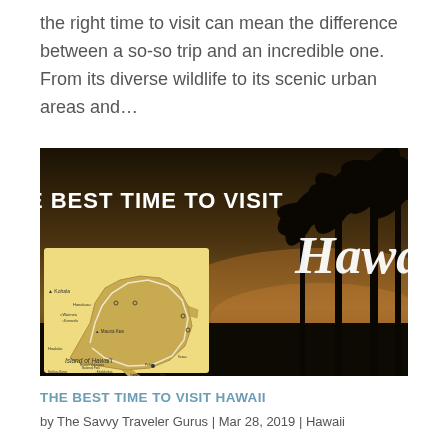the right time to visit can mean the difference between a so-so trip and an incredible one. From its diverse wildlife to its scenic urban areas and…
[Figure (illustration): Promotional image with text 'THE BEST TIME TO VISIT Hawaii' overlaid on a sunset background with palm tree silhouettes and a map of Island of Hawai'i in the lower left.]
THE BEST TIME TO VISIT HAWAII
by The Savvy Traveler Gurus | Mar 28, 2019 | Hawaii